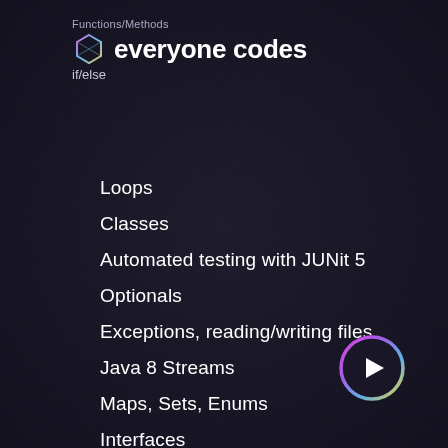Functions/Methods
everyone codes
if/else
Loops
Classes
Automated testing with JUNit 5
Optionals
Exceptions, reading/writing files
Java 8 Streams
Maps, Sets, Enums
Interfaces
Inheritance
git + GitHub
[Figure (illustration): Circular navigation button with gradient pink/purple/yellow border and a white triangle (play/next arrow) in the center on dark background]